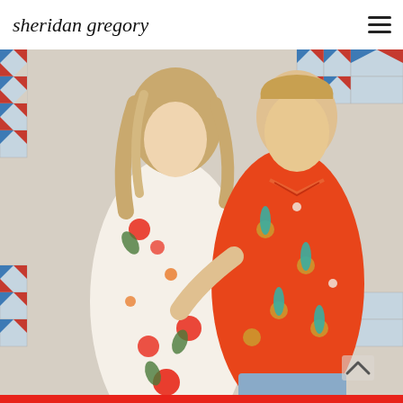sheridan gregory
[Figure (photo): A couple standing in front of a colorful geometric tile wall. The woman is wearing a white floral dress with red hibiscus flowers. The man is wearing an orange Hawaiian shirt with pineapple and palm tree print. They are posing closely together. A scroll-up arrow icon is visible in the bottom-right corner of the photo.]